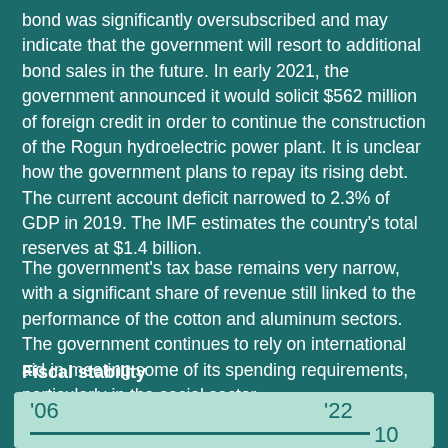bond was significantly oversubscribed and may indicate that the government will resort to additional bond sales in the future. In early 2021, the government announced it would solicit $562 million of foreign credit in order to continue the construction of the Rogun hydroelectric power plant. It is unclear how the government plans to repay its rising debt. The current account deficit narrowed to 2.3% of GDP in 2019. The IMF estimates the country's total reserves at $1.4 billion.
The government's tax base remains very narrow, with a significant share of revenue still linked to the performance of the cotton and aluminum sectors. The government continues to rely on international aid in meeting some of its spending requirements, particularly in the social sector.
Fiscal stability
[Figure (other): Fiscal stability chart showing years '06 and '22 with a horizontal line and value 10]